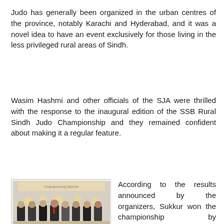Judo has generally been organized in the urban centres of the province, notably Karachi and Hyderabad, and it was a novel idea to have an event exclusively for those living in the less privileged rural areas of Sindh.
Wasim Hashmi and other officials of the SJA were thrilled with the response to the inaugural edition of the SSB Rural Sindh Judo Championship and they remained confident about making it a regular feature.
[Figure (photo): Group photo of judo participants and officials at the SSB Rural Sindh Judo Championship, many in white judo uniforms, holding certificates/plaques, with organizers in suits standing behind them.]
According to the results announced by the organizers, Sukkur won the championship by accumulating 55 points while hosts Mirpurkhas ended runners-up with 45 points. Nawabshah stood third with 25 points while Badin and Larkana shared fourth position with 20 points each. Umerkot and Sanghar could muster only five points each.
S k h d b f ld d l d id t il